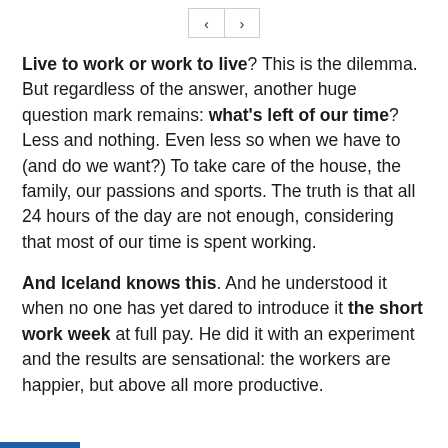< >
Live to work or work to live? This is the dilemma. But regardless of the answer, another huge question mark remains: what's left of our time? Less and nothing. Even less so when we have to (and do we want?) To take care of the house, the family, our passions and sports. The truth is that all 24 hours of the day are not enough, considering that most of our time is spent working.
And Iceland knows this. And he understood it when no one has yet dared to introduce it the short work week at full pay. He did it with an experiment and the results are sensational: the workers are happier, but above all more productive.